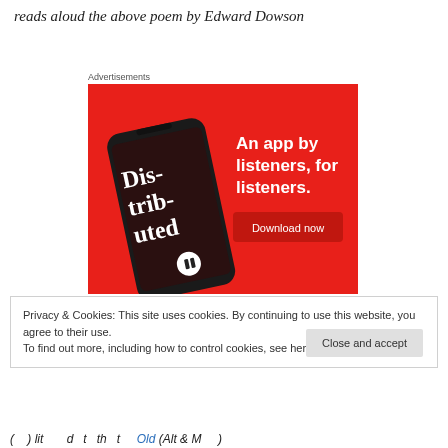reads aloud the above poem by Edward Dowson
Advertisements
[Figure (illustration): Advertisement banner with red background showing a smartphone displaying a podcast app with 'Dis-tri-buted' text, and copy reading 'An app by listeners, for listeners.' with a 'Download now' button.]
Privacy & Cookies: This site uses cookies. By continuing to use this website, you agree to their use.
To find out more, including how to control cookies, see here: Cookie Policy
Close and accept
( ) lit d t th t Old (Alt & M )